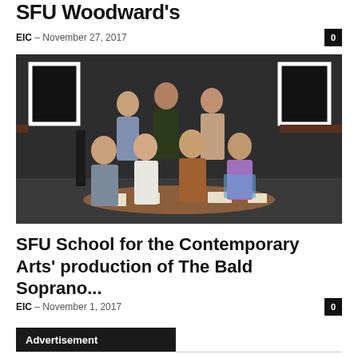SFU Woodward's
EIC – November 27, 2017
[Figure (photo): Group photo of theatre students on stage at SFU, with white-framed panels on back wall, seven performers posed around a low oval table.]
SFU School for the Contemporary Arts' production of The Bald Soprano...
EIC – November 1, 2017
Advertisement